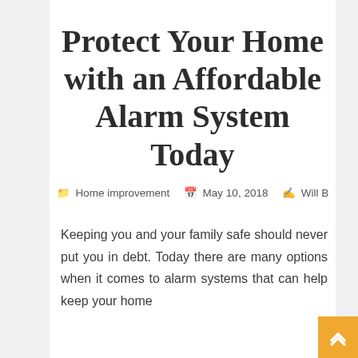Protect Your Home with an Affordable Alarm System Today
Home improvement  May 10, 2018  Will B
Keeping you and your family safe should never put you in debt. Today there are many options when it comes to alarm systems that can help keep your home